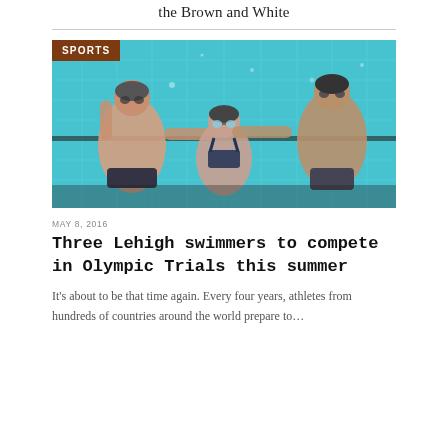the Brown and White
[Figure (photo): Underwater photo of three Lehigh swimmers posing in a pool, two males on the sides and one female in the center, wearing swim caps and goggles. A brown 'SPORTS' badge overlays the top-left corner.]
MAY 8, 2016
Three Lehigh swimmers to compete in Olympic Trials this summer
It's about to be that time again. Every four years, athletes from hundreds of countries around the world prepare to…